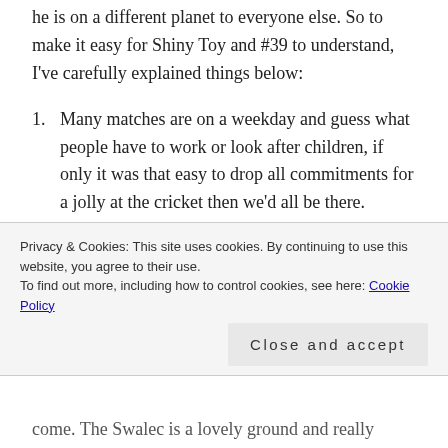he is on a different planet to everyone else. So to make it easy for Shiny Toy and #39 to understand, I've carefully explained things below:
Many matches are on a weekday and guess what people have to work or look after children, if only it was that easy to drop all commitments for a jolly at the cricket then we'd all be there.
There are very few £30 tickets with the majority being in the £40-£60 bracket. When you factor in travel and food costs you're probably around £80 lighter at least. In case you hadn't noticed the
Privacy & Cookies: This site uses cookies. By continuing to use this website, you agree to their use.
To find out more, including how to control cookies, see here: Cookie Policy
Close and accept
come. The Swalec is a lovely ground and really